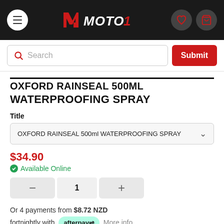MOTO1
Search
OXFORD RAINSEAL 500ML WATERPROOFING SPRAY
Title
OXFORD RAINSEAL 500ml WATERPROOFING SPRAY
$34.90
Available Online
1
Or 4 payments from $8.72 NZD fortnightly with afterpay More info
ADD TO CART